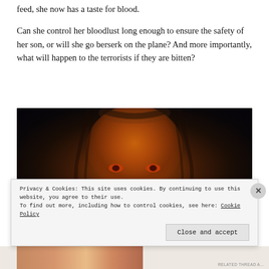feed, she now has a taste for blood.
Can she control her bloodlust long enough to ensure the safety of her son, or will she go berserk on the plane? And more importantly, what will happen to the terrorists if they are bitten?
[Figure (photo): Dark horror-style close-up portrait of a woman's face lit with an eerie orange-brown glow against a very dark background, with wide glowing eyes and long dark hair.]
Privacy & Cookies: This site uses cookies. By continuing to use this website, you agree to their use.
To find out more, including how to control cookies, see here: Cookie Policy
Close and accept